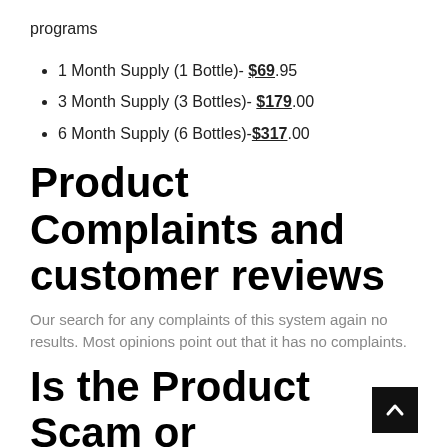programs
1 Month Supply (1 Bottle)- $69.95
3 Month Supply (3 Bottles)- $179.00
6 Month Supply (6 Bottles)-$317.00
Product Complaints and customer reviews
Our search for any complaints of this system again no results. Most opinions point out that it has no complaints.
Is the Product Scam or